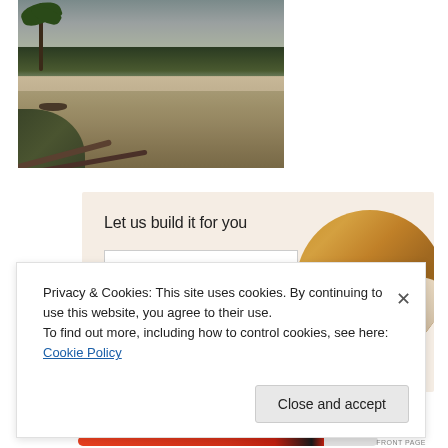[Figure (photo): A brown muddy river scene with palm trees and dense jungle vegetation in the background, a small boat visible, and fallen logs in the foreground on the left bank.]
[Figure (infographic): Promotional banner with light peach background reading 'Let us build it for you' with a 'Let's get started' button and a circular-cropped photo of a person using a tablet/device.]
Privacy & Cookies: This site uses cookies. By continuing to use this website, you agree to their use.
To find out more, including how to control cookies, see here: Cookie Policy
Close and accept